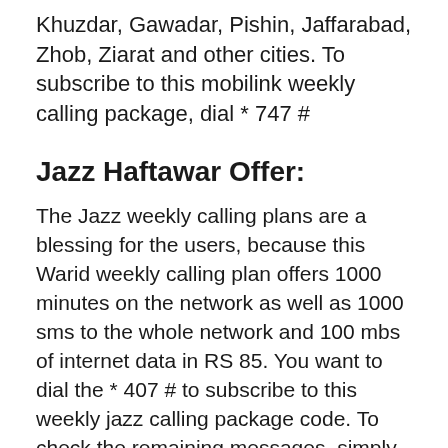Khuzdar, Gawadar, Pishin, Jaffarabad, Zhob, Ziarat and other cities. To subscribe to this mobilink weekly calling package, dial * 747 #
Jazz Haftawar Offer:
The Jazz weekly calling plans are a blessing for the users, because this Warid weekly calling plan offers 1000 minutes on the network as well as 1000 sms to the whole network and 100 mbs of internet data in RS 85. You want to dial the * 407 # to subscribe to this weekly jazz calling package code. To check the remaining messages, simply dial * 407 * 2 # and by dialing * 407 * 4 # you can unsubscribe from the plan.